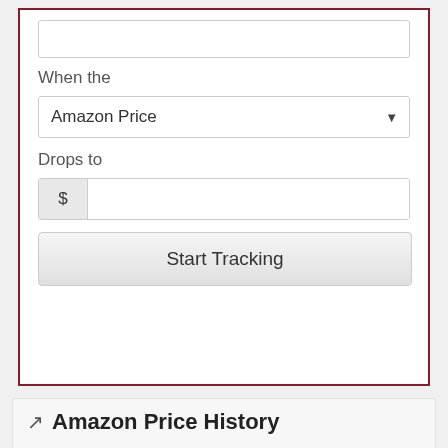When the
Amazon Price
Drops to
$ [input field]
Start Tracking
Amazon Price History
[Figure (line-chart): Line chart showing Amazon price history. Chart shows price around $58.77 with a dashed red reference line. Green bars/line visible on left side of chart. Y-axis label: $60. URL: https://3cmls.co/US/B00EW0V2EC]